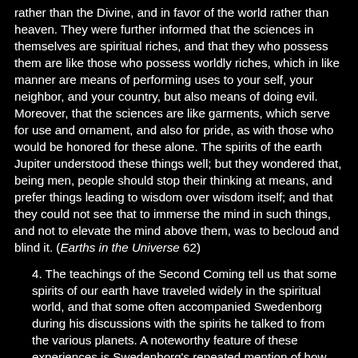rather than the Divine, and in favor of the world rather than heaven. They were further informed that the sciences in themselves are spiritual riches, and that they who possess them are like those who possess worldly riches, which in like manner are means of performing uses to your self, your neighbor, and your country, but also means of doing evil. Moreover, that the sciences are like garments, which serve for use and ornament, and also for pride, as with those who would be honored for these alone. The spirits of the earth Jupiter understood these things well; but they wondered that, being men, people should stop their thinking at means, and prefer things leading to wisdom over wisdom itself; and that they could not see that to immerse the mind in such things, and not to elevate the mind above them, was to becloud and blind it. (Earths in the Universe 62)
4. The teachings of the Second Coming tell us that some spirits of our earth have traveled widely in the spiritual world, and that some often accompanied Swedenborg during his discussions with the spirits he talked to from the various planets. A noteworthy feature of these experiences is Swedenborg's repeated mention of how